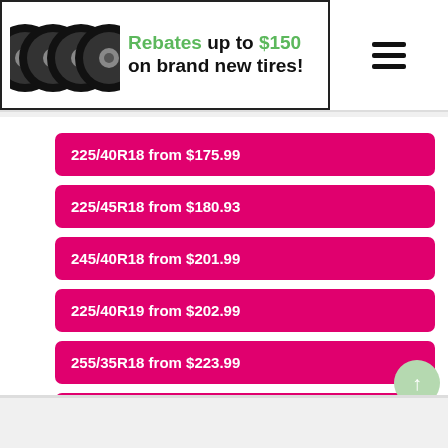[Figure (screenshot): Banner with four tire images on the left and promotional text: 'Rebates up to $150 on brand new tires!' with a hamburger menu icon on the right]
225/40R18 from $175.99
225/45R18 from $180.93
245/40R18 from $201.99
225/40R19 from $202.99
255/35R18 from $223.99
245/35R19 from $265.99
255/35R19 from $288.99